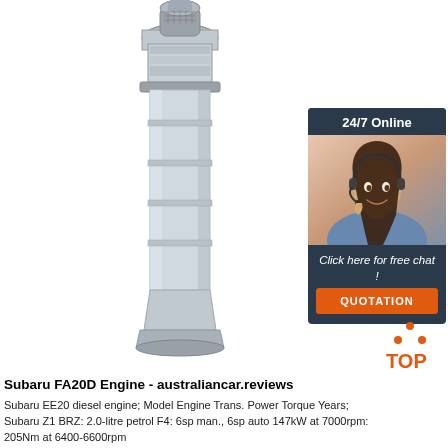[Figure (photo): Tall cylindrical metallic engine component (Subaru EE20 diesel engine or similar), silver/chrome colored, standing vertically on a white background]
[Figure (photo): 24/7 Online chat widget with a smiling woman wearing a headset, dark blue/navy background, orange QUOTATION button, text reads 'Click here for free chat!']
[Figure (logo): TOP logo with orange dots arranged in a triangle above the word TOP in orange/red text]
Subaru FA20D Engine - australiancar.reviews
Subaru EE20 diesel engine; Model Engine Trans. Power Torque Years; Subaru Z1 BRZ: 2.0-litre petrol F4: 6sp man., 6sp auto 147kW at 7000rpm: 205Nm at 6400-6600rpm